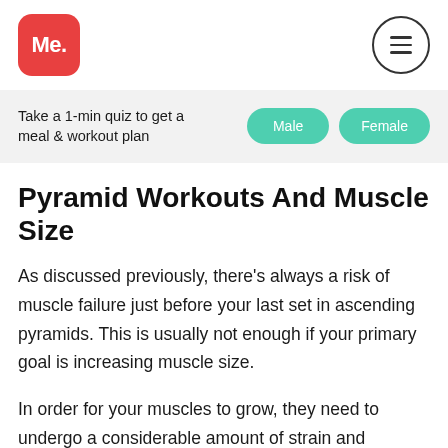[Figure (logo): Me. app logo — red rounded square with white text 'Me.']
[Figure (other): Hamburger menu icon — circle with three horizontal lines]
Take a 1-min quiz to get a meal & workout plan
[Figure (other): Male button — teal/green rounded pill button]
[Figure (other): Female button — teal/green rounded pill button]
Pyramid Workouts And Muscle Size
As discussed previously, there's always a risk of muscle failure just before your last set in ascending pyramids. This is usually not enough if your primary goal is increasing muscle size.
In order for your muscles to grow, they need to undergo a considerable amount of strain and